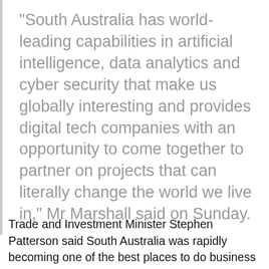“South Australia has world-leading capabilities in artificial intelligence, data analytics and cyber security that make us globally interesting and provides digital tech companies with an opportunity to come together to partner on projects that can literally change the world we live in,” Mr Marshall said on Sunday.
Trade and Investment Minister Stephen Patterson said South Australia was rapidly becoming one of the best places to do business globally.
“We are building a world-class innovation ecosystem that’s underpinned by a competitive business environment that attracts the...